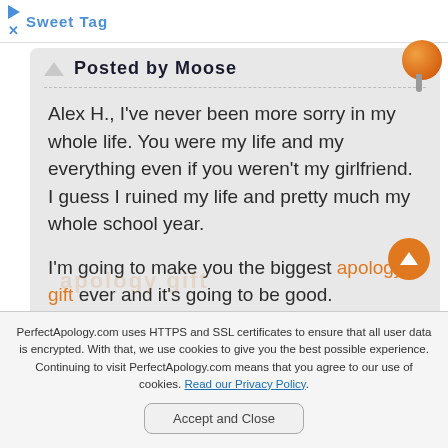Sweet Tag
Posted by Moose
Alex H., I've never been more sorry in my whole life. You were my life and my everything even if you weren't my girlfriend. I guess I ruined my life and pretty much my whole school year.

I'm going to make you the biggest apology gift ever and it's going to be good.
PerfectApology.com uses HTTPS and SSL certificates to ensure that all user data is encrypted. With that, we use cookies to give you the best possible experience. Continuing to visit PerfectApology.com means that you agree to our use of cookies. Read our Privacy Policy.